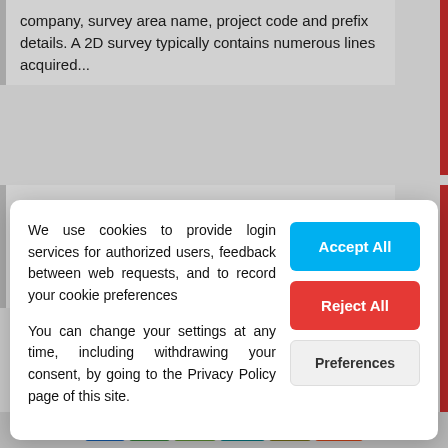company, survey area name, project code and prefix details. A 2D survey typically contains numerous lines acquired...
Tectonic Elements
Department of Communications,
Climate Action & Environment
We use cookies to provide login services for authorized users, feedback between web requests, and to record your cookie preferences
You can change your settings at any time, including withdrawing your consent, by going to the Privacy Policy page of this site.
Accept All
Reject All
Preferences
SHP CSV KML WMS GML JSON